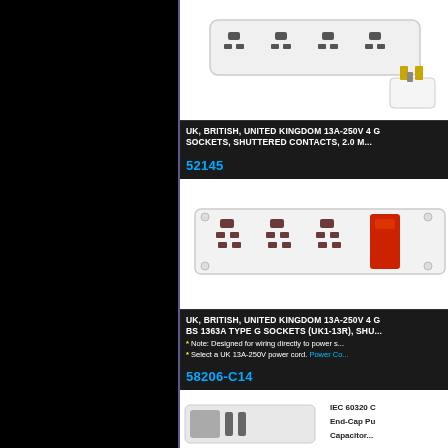[Figure (photo): UK British power strip with 4 gang sockets and UK plug visible, white color]
UK, BRITISH, UNITED KINGDOM 13A-250V 4 G SOCKETS, SHUTTERED CONTACTS, 2.0 M...
52145
[Figure (photo): UK British power strip with 4 gang BS 1363A Type G sockets with red switch, white color]
UK, BRITISH, UNITED KINGDOM 13A-250V 4 G BS 1363A TYPE G SOCKETS (UK1-13R), SHU... * Note: Designed for wiring directly to power s... * Select a UK 13A-250V power cord. Power Co...
58206-C14
[Figure (photo): IEC 60320 C End-Cap power connector partial view]
IEC 60320 C
End-Cap Pu
Capacitor...